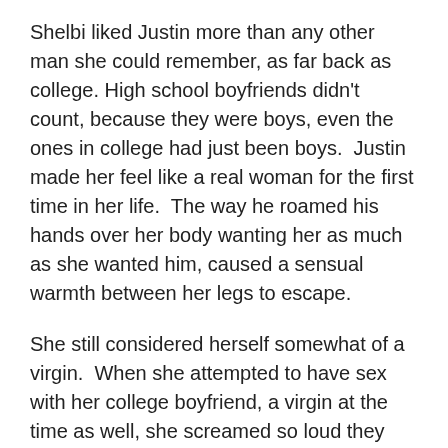Shelbi liked Justin more than any other man she could remember, as far back as college. High school boyfriends didn't count, because they were boys, even the ones in college had just been boys.  Justin made her feel like a real woman for the first time in her life.  The way he roamed his hands over her body wanting her as much as she wanted him, caused a sensual warmth between her legs to escape.
She still considered herself somewhat of a virgin.  When she attempted to have sex with her college boyfriend, a virgin at the time as well, she screamed so loud they stopped after barely a minute.  She vowed never to have sex again until she knew it was the right time and with the right man.  Staring down at Justin, she knew in her heart she had found the right man.